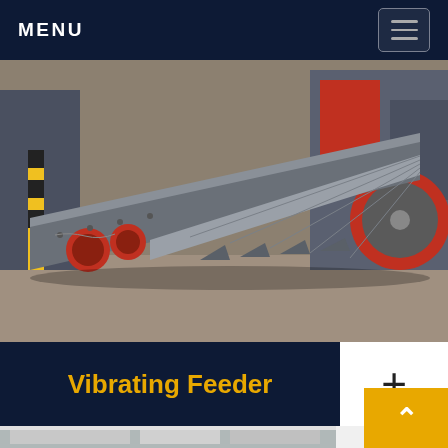MENU
[Figure (photo): Industrial vibrating feeder machine — a large grey steel trough conveyor with ribbed base panels, mounted on a frame with red circular vibrator motors on the side, photographed in a factory/warehouse setting with other heavy machinery in the background]
Vibrating Feeder
[Figure (photo): Partial view of industrial machinery or equipment interior, second product image at bottom of page]